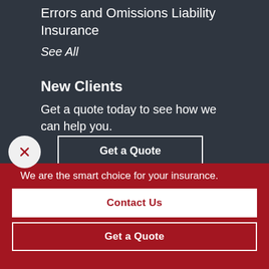Errors and Omissions Liability Insurance
See All
New Clients
Get a quote today to see how we can help you.
Get a Quote
We are the smart choice for your insurance.
Contact Us
Get a Quote